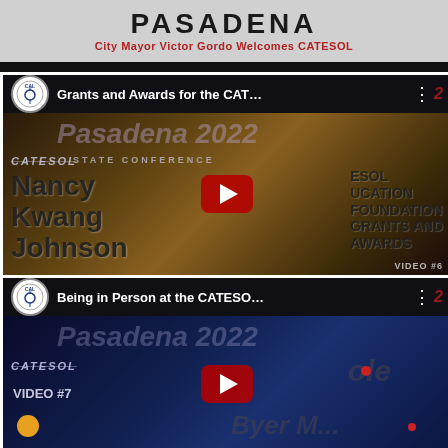[Figure (screenshot): Top banner showing PASADENA text with subtitle 'City Mayor Victor Gordo Welcomes CATESOL']
[Figure (screenshot): YouTube video thumbnail for 'Grants and Awards for the CAT...' showing CATESOL State Conference with Nancy Kwang Johnson and CATESOL Education Foundation Grants and Awards, VIDEO #6]
[Figure (screenshot): YouTube video thumbnail for 'Being in Person at the CATESO...' showing CATESOL logo, VIDEO #7, with colorful text overlay]